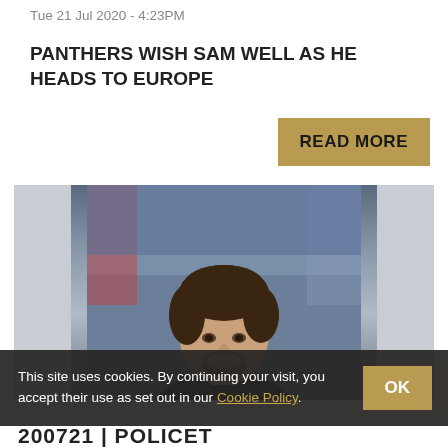Tue 21 Jul 2020 - 4:23PM
PANTHERS WISH SAM WELL AS HE HEADS TO EUROPE
READ MORE
[Figure (photo): Portrait of a young man with dark hair and beard, wearing a black jacket, with a blurred blue background suggesting an ice rink.]
This site uses cookies. By continuing your visit, you accept their use as set out in our Cookie Policy. OK
200721 | POLICET